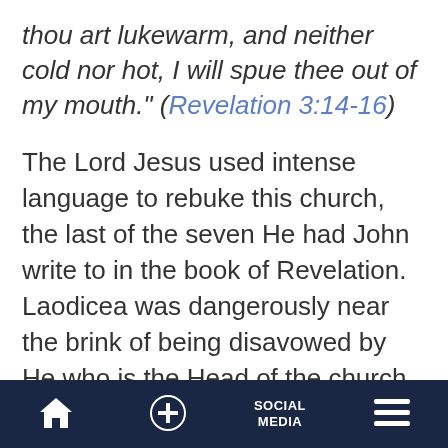thou art lukewarm, and neither cold nor hot, I will spue thee out of my mouth." (Revelation 3:14-16)
The Lord Jesus used intense language to rebuke this church, the last of the seven He had John write to in the book of Revelation. Laodicea was dangerously near the brink of being disavowed by He who is the Head of the church.
Such churches believe they "have need of nothing" (Revelation 3:17). Worldly wealth,
Home | + | SOCIAL MEDIA | Menu